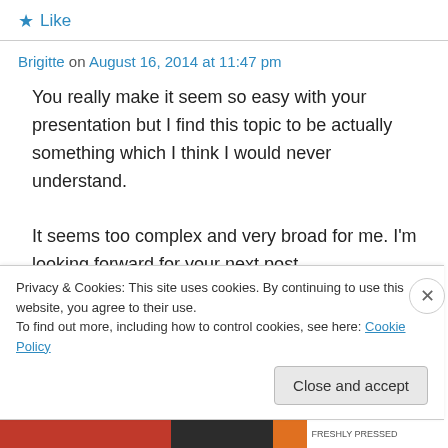★ Like
Brigitte on August 16, 2014 at 11:47 pm
You really make it seem so easy with your presentation but I find this topic to be actually something which I think I would never understand.
It seems too complex and very broad for me. I'm looking forward for your next post,
I'll try to get the hang of it!
Privacy & Cookies: This site uses cookies. By continuing to use this website, you agree to their use.
To find out more, including how to control cookies, see here: Cookie Policy
Close and accept